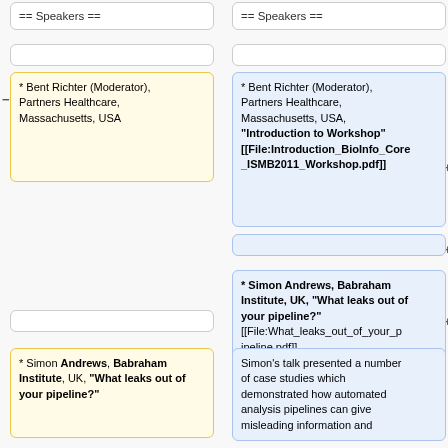== Speakers ==
== Speakers ==
* Bent Richter (Moderator), Partners Healthcare, Massachusetts, USA
* Bent Richter (Moderator), Partners Healthcare, Massachusetts, USA, "Introduction to Workshop" [[File:Introduction_BioInfo_Core_ISMB2011_Workshop.pdf]]
* Simon Andrews, Babraham Institute, UK, "What leaks out of your pipeline?" [[File:What_leaks_out_of_your_pipeline.pdf]]
* Simon Andrews, Babraham Institute, UK, "What leaks out of your pipeline?"
Simon's talk presented a number of case studies which demonstrated how automated analysis pipelines can give misleading information and